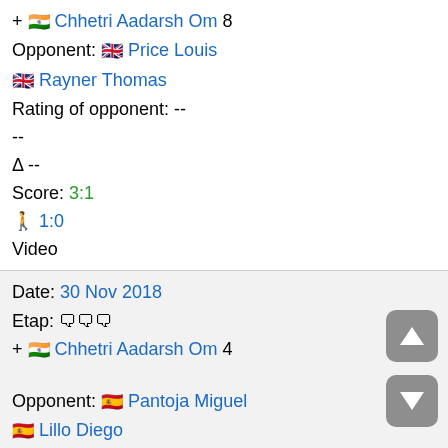+ 🇮🇳 Chhetri Aadarsh Om 8
Opponent: 🇬🇧 Price Louis
🇬🇧 Rayner Thomas
Rating of opponent: --
--
Δ --
Score: 3:1
🚶 1:0
Video
Date: 30 Nov 2018
Etap: 🗨🗨🗨
+ 🇮🇳 Chhetri Aadarsh Om 4
Opponent: 🇪🇸 Pantoja Miguel
🇪🇸 Lillo Diego
Rating of opponent: --
--
Δ --
Score: 2:3
🚶 0:1